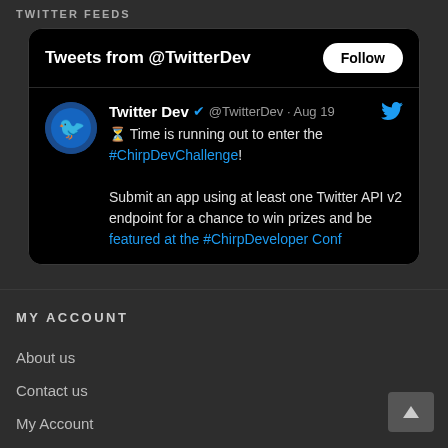TWITTER FEEDS
[Figure (screenshot): Twitter widget showing 'Tweets from @TwitterDev' with a Follow button, and a tweet from Twitter Dev (@TwitterDev · Aug 19) with verified badge. Tweet content: '⏳ Time is running out to enter the #ChirpDevChallenge! Submit an app using at least one Twitter API v2 endpoint for a chance to win prizes and be featured at the #ChirpDeveloper Conf...']
MY ACCOUNT
About us
Contact us
My Account
Order history
Advanced search